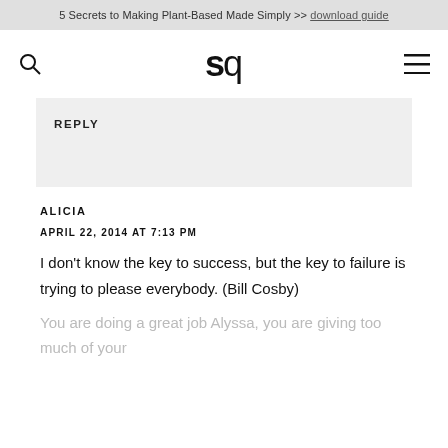5 Secrets to Making Plant-Based Made Simply >> download guide
[Figure (logo): sq logo with search icon and hamburger menu]
REPLY
ALICIA
APRIL 22, 2014 AT 7:13 PM
I don't know the key to success, but the key to failure is trying to please everybody. (Bill Cosby)
You are doing a great job Alyssa, you are giving too much of your